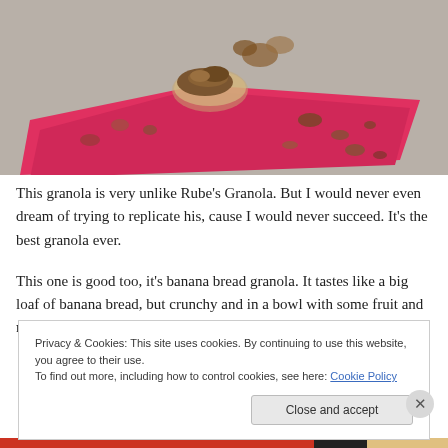[Figure (photo): A food photograph showing granola in a small glass bowl on pink/red packaging or cloth, on a light gray surface. Some granola and nuts scattered around.]
This granola is very unlike Rube's Granola. But I would never even dream of trying to replicate his, cause I would never succeed. It's the best granola ever.
This one is good too, it's banana bread granola. It tastes like a big loaf of banana bread, but crunchy and in a bowl with some fruit and milk. yum.
Privacy & Cookies: This site uses cookies. By continuing to use this website, you agree to their use.
To find out more, including how to control cookies, see here: Cookie Policy
Close and accept